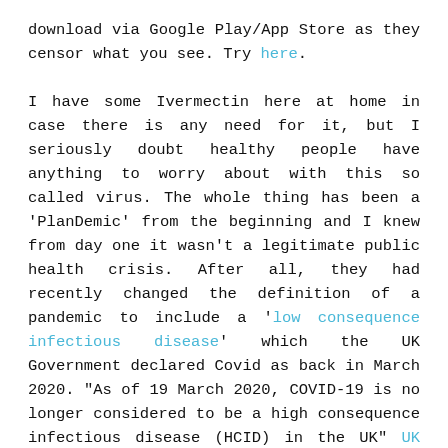download via Google Play/App Store as they censor what you see. Try here.

I have some Ivermectin here at home in case there is any need for it, but I seriously doubt healthy people have anything to worry about with this so called virus. The whole thing has been a 'PlanDemic' from the beginning and I knew from day one it wasn't a legitimate public health crisis. After all, they had recently changed the definition of a pandemic to include a 'low consequence infectious disease' which the UK Government declared Covid as back in March 2020. "As of 19 March 2020, COVID-19 is no longer considered to be a high consequence infectious disease (HCID) in the UK" UK Gov